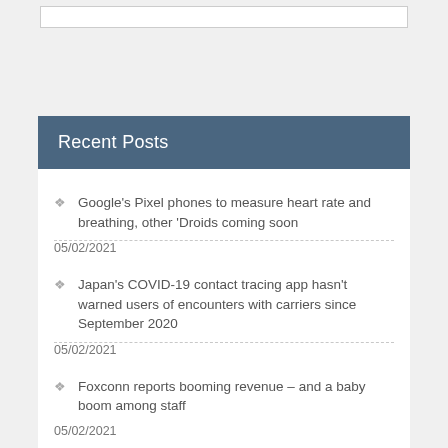Recent Posts
Google's Pixel phones to measure heart rate and breathing, other 'Droids coming soon
05/02/2021
Japan's COVID-19 contact tracing app hasn't warned users of encounters with carriers since September 2020
05/02/2021
Foxconn reports booming revenue – and a baby boom among staff
05/02/2021